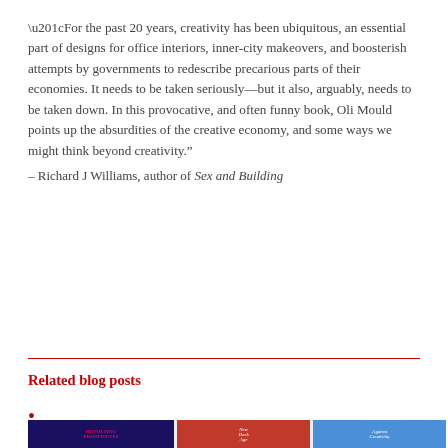“For the past 20 years, creativity has been ubiquitous, an essential part of designs for office interiors, inner-city makeovers, and boosterish attempts by governments to redescribe precarious parts of their economies. It needs to be taken seriously—but it also, arguably, needs to be taken down. In this provocative, and often funny book, Oli Mould points up the absurdities of the creative economy, and some ways we might think beyond creativity.”
– Richard J Williams, author of Sex and Building
Read More
Related blog posts
•
[Figure (photo): Three book covers laid on a surface: a dark book with colourful text (Revolting Prostitutes), a red book titled 'New Dark Age', and a blue book titled 'Against Creativity' by Oli Mould]